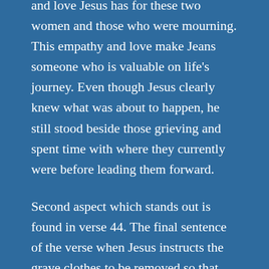and love Jesus has for these two women and those who were mourning. This empathy and love make Jeans someone who is valuable on life's journey. Even though Jesus clearly knew what was about to happen, he still stood beside those grieving and spent time with where they currently were before leading them forward.
Second aspect which stands out is found in verse 44. The final sentence of the verse when Jesus instructs the grave clothes to be removed so that Lazarus may go, or be free to live again, is important. Jesus is telling them to remove the things which bind Lazarus to his previous life